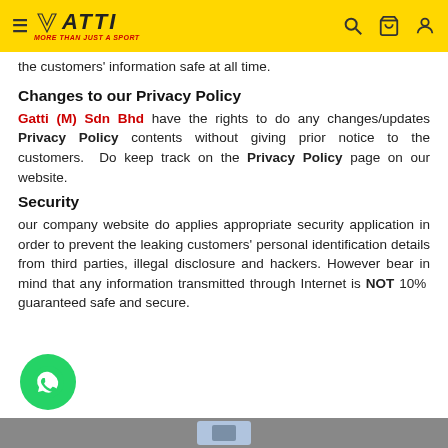GATTI - MORE THAN JUST A SPORT
the customers' information safe at all time.
Changes to our Privacy Policy
Gatti (M) Sdn Bhd have the rights to do any changes/updates Privacy Policy contents without giving prior notice to the customers. Do keep track on the Privacy Policy page on our website.
Security
our company website do applies appropriate security application in order to prevent the leaking customers' personal identification details from third parties, illegal disclosure and hackers. However bear in mind that any information transmitted through Internet is NOT 100% guaranteed safe and secure.